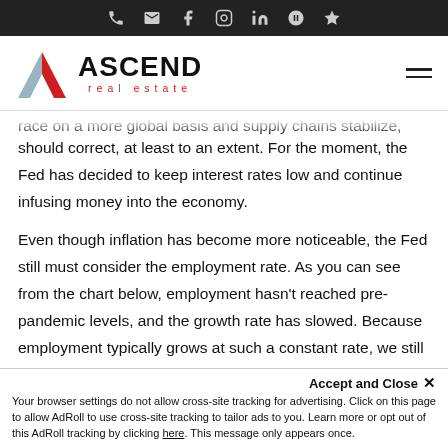Ascend Real Estate — navigation icon bar
[Figure (logo): Ascend Real Estate logo with triangular A icon and red/grey colors]
...race on a more global basis and supply chains stabilize, prices should correct, at least to an extent. For the moment, the Fed has decided to keep interest rates low and continue infusing money into the economy.
Even though inflation has become more noticeable, the Fed still must consider the employment rate. As you can see from the chart below, employment hasn't reached pre-pandemic levels, and the growth rate has slowed. Because employment typically grows at such a constant rate, we still have around 10.5 million fewer employed people than if there had never been a pandemic.
Accept and Close ✕ Your browser settings do not allow cross-site tracking for advertising. Click on this page to allow AdRoll to use cross-site tracking to tailor ads to you. Learn more or opt out of this AdRoll tracking by clicking here. This message only appears once.